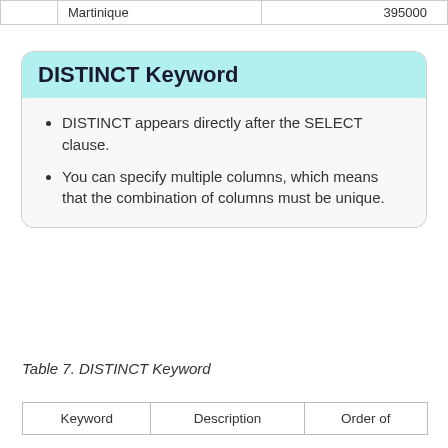|  | Martinique | 395000 |
| --- | --- | --- |
DISTINCT Keyword
DISTINCT appears directly after the SELECT clause.
You can specify multiple columns, which means that the combination of columns must be unique.
Table 7. DISTINCT Keyword
| Keyword | Description | Order of |
| --- | --- | --- |